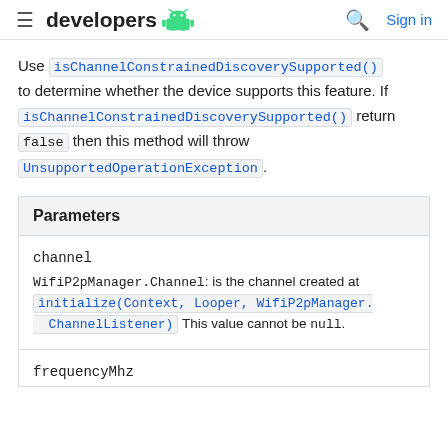developers
Use isChannelConstrainedDiscoverySupported() to determine whether the device supports this feature. If isChannelConstrainedDiscoverySupported() return false then this method will throw UnsupportedOperationException.
| Parameters |
| --- |
| channel | WifiP2pManager.Channel: is the channel created at initialize(Context, Looper, WifiP2pManager.ChannelListener) This value cannot be null. |
| frequencyMhz |  |